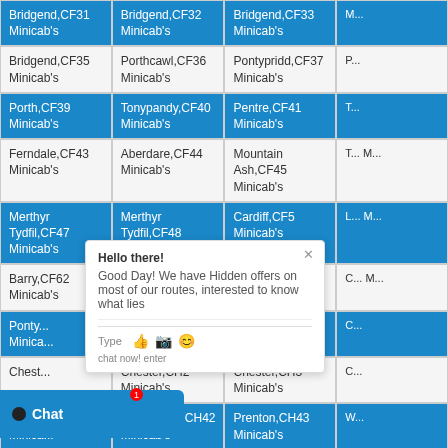| Bridgend,CF31 Minicab's | Bridgend,CF32 Minicab's | Bridgend,CF33 Minicab's | (partial) |
| Bridgend,CF35 Minicab's | Porthcawl,CF36 Minicab's | Pontypridd,CF37 Minicab's | (partial) |
| Porth,CF39 Minicab's | Tonypandy,CF40 Minicab's | Pentre,CF41 Minicab's | (partial) |
| Ferndale,CF43 Minicab's | Aberdare,CF44 Minicab's | Mountain Ash,CF45 Minicab's | (partial) |
| Merthyr Tydfil,CF47 Minicab's | Merthyr Tydfil,CF48 Minicab's | Cardiff,CF5 Minicab's | (partial) |
| Barry,CF62 Minicab's | Barry,CF63 Minicab's | Penarth,CF64 Minicab's | (partial) |
| Ponty... Minicab's | Bargoed,CF81 Minicab's | Hengoed,CF82 Minicab's | (partial) |
| Chest... | Chester,CH2 Minicab's | Chester,CH3 Minicab's | (partial) |
| Birken... Minicab's | Birkenhead,CH42 Minicab's | Prenton,CH43 Minicab's | (partial) |
| Wallasey,CH45 | Wirral,CH46 Minicab's | Wirral,CH47 Minicab's | (partial) |